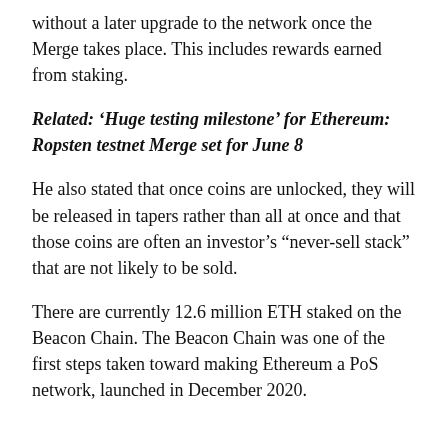without a later upgrade to the network once the Merge takes place. This includes rewards earned from staking.
Related: 'Huge testing milestone' for Ethereum: Ropsten testnet Merge set for June 8
He also stated that once coins are unlocked, they will be released in tapers rather than all at once and that those coins are often an investor's "never-sell stack" that are not likely to be sold.
There are currently 12.6 million ETH staked on the Beacon Chain. The Beacon Chain was one of the first steps taken toward making Ethereum a PoS network, launched in December 2020.